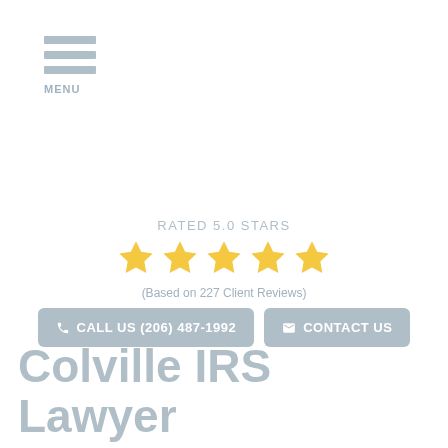MENU
RATED 5.0 STARS
[Figure (illustration): Five gold star rating icons in a row]
(Based on 227 Client Reviews)
CALL US (206) 487-1992
CONTACT US
Colville IRS Lawyer